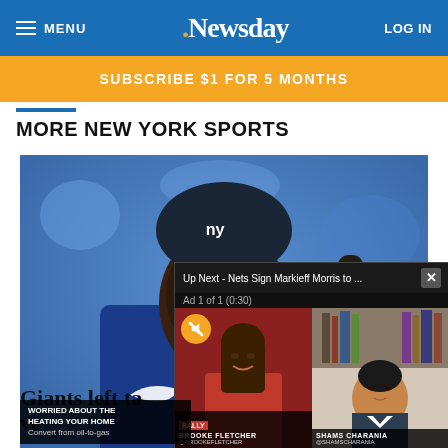MENU | .Newsday | LOG IN
SUBSCRIBE $1 FOR 5 MONTHS
MORE NEW YORK SPORTS
[Figure (photo): New York Giants player wearing a NY Giants cap and blue Nike jersey, smiling, close-up outdoor photo]
[Figure (screenshot): Video overlay showing 'Up Next - Nets Sign Markieff Morris to ...' with close button, Ad 1 of 1 (0:30), showing two video feeds: left with a woman (Brooke Fletcher) on Rally network, right with a man (Shams Charania)]
Giants left ta...
ve...
WORRIED ABOUT THE
HEATING YOUR HOME
Convert from oil-to-gas
24